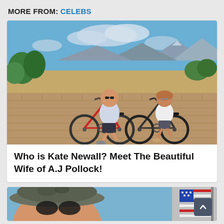MORE FROM: CELEBS
[Figure (photo): A man and a woman on bicycles on a brick plaza with mountains and blue sky in the background. Both wearing sunglasses.]
Who is Kate Newall? Meet The Beautiful Wife of A.J Pollock!
[Figure (photo): Partial view of a selfie with a man and an American flag visible, partially cut off at bottom of page.]